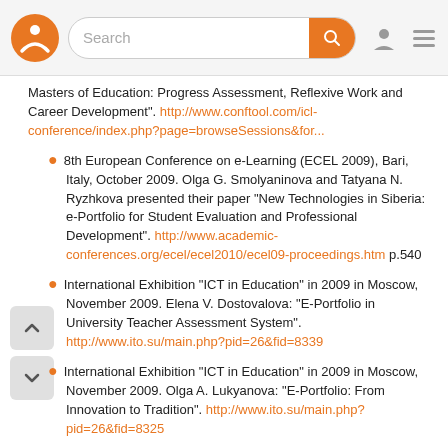[Figure (screenshot): Website navigation bar with logo, search field with orange button, user icon and menu icon]
Masters of Education: Progress Assessment, Reflexive Work and Career Development". http://www.conftool.com/icl-conference/index.php?page=browseSessions&for...
8th European Conference on e-Learning (ECEL 2009), Bari, Italy, October 2009. Olga G. Smolyaninova and Tatyana N. Ryzhkova presented their paper “New Technologies in Siberia: e-Portfolio for Student Evaluation and Professional Development". http://www.academic-conferences.org/ecel/ecel2010/ecel09-proceedings.htm p.540
International Exhibition “ICT in Education” in 2009 in Moscow, November 2009. Elena V. Dostovalova: “E-Portfolio in University Teacher Assessment System”. http://www.ito.su/main.php?pid=26&fid=8339
International Exhibition “ICT in Education” in 2009 in Moscow, November 2009. Olga A. Lukyanova: “E-Portfolio: From Innovation to Tradition”. http://www.ito.su/main.php?pid=26&fid=8325
Journal of Siberian Federal University. Smolyaninova Olga G., Glukhikh Ruslan S. “Assessment of Higher School Teacher Practices and Practice Preparation in 2009...